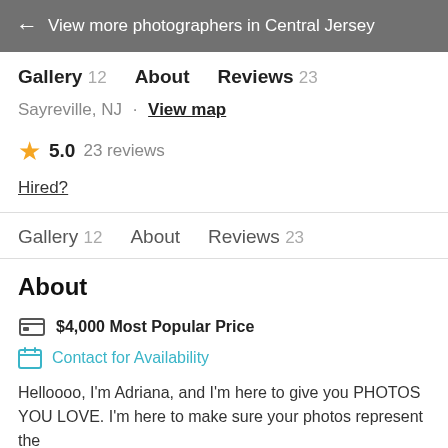← View more photographers in Central Jersey
Gallery 12  About  Reviews 23
Sayreville, NJ  ·  View map
★ 5.0  23 reviews
Hired?
Gallery 12  About  Reviews 23
About
$4,000 Most Popular Price
Contact for Availability
Helloooo, I'm Adriana, and I'm here to give you PHOTOS YOU LOVE. I'm here to make sure your photos represent the